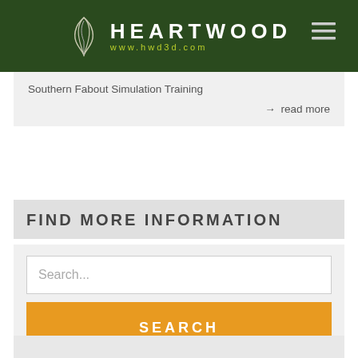[Figure (logo): Heartwood logo with stylized wing/leaf icon and text HEARTWOOD www.hwd3d.com on dark green background with hamburger menu icon]
Southern Fabout Simulation Training
→ read more
FIND MORE INFORMATION
Search...
SEARCH